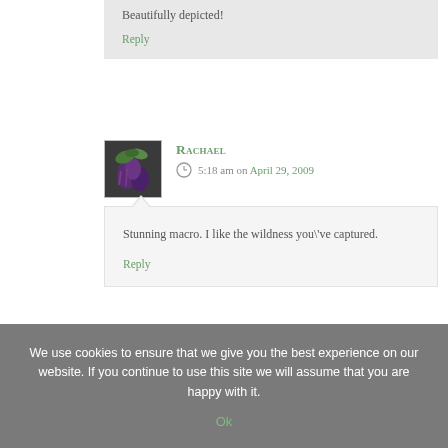Beautifully depicted!
Reply
Rachael
5:18 am on April 29, 2009
Stunning macro. I like the wildness you\'ve captured.
Reply
We use cookies to ensure that we give you the best experience on our website. If you continue to use this site we will assume that you are happy with it.
Ok